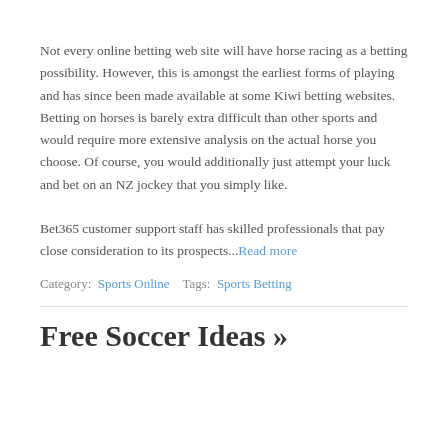Not every online betting web site will have horse racing as a betting possibility. However, this is amongst the earliest forms of playing and has since been made available at some Kiwi betting websites. Betting on horses is barely extra difficult than other sports and would require more extensive analysis on the actual horse you choose. Of course, you would additionally just attempt your luck and bet on an NZ jockey that you simply like.
Bet365 customer support staff has skilled professionals that pay close consideration to its prospects...Read more
Category: Sports Online   Tags: Sports Betting
Free Soccer Ideas »